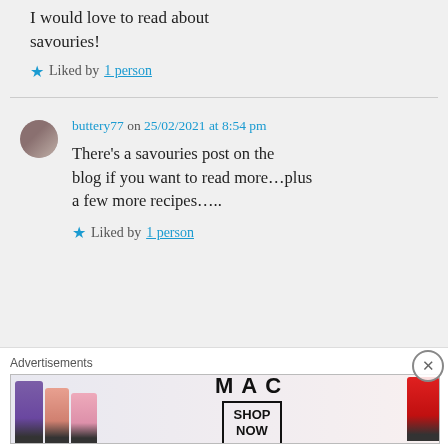I would love to read about savouries!
★ Liked by 1 person
buttery77 on 25/02/2021 at 8:54 pm
There's a savouries post on the blog if you want to read more…plus a few more recipes…..
★ Liked by 1 person
Advertisements
[Figure (photo): MAC cosmetics advertisement banner showing lipsticks in purple, peach, and pink colors on the left, MAC logo in the center, SHOP NOW button, and a red lipstick on the right.]